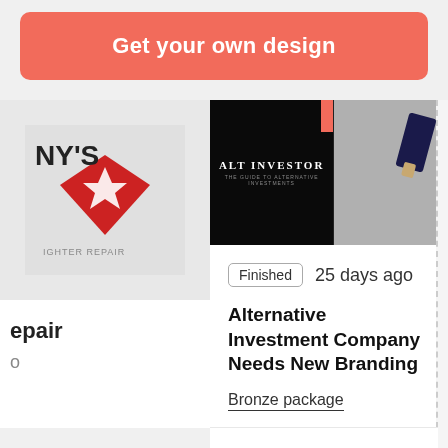Get your own design
[Figure (screenshot): Left partial card showing a logo with 'NY'S' text in red and white on grey background, with partial text 'epair' and 'o' below]
[Figure (screenshot): Dark banner image showing 'ALT INVESTOR - THE GUIDE TO ALTERNATIVE INVESTMENTS' text on black background, and a grey image of a pen/pencil on the right]
Finished  25 days ago
Alternative Investment Company Needs New Branding
Bronze package
We are a website targeting high-net-worth individuals with a minimum net income of $300,000 pa. We blog...